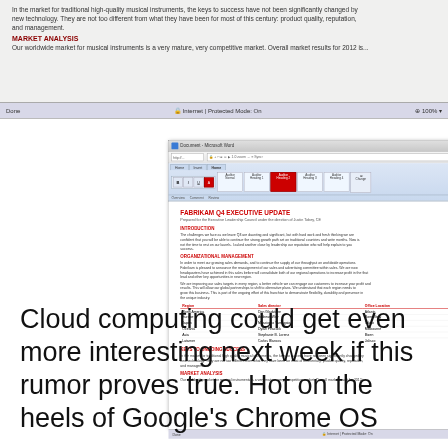[Figure (screenshot): Top portion of a browser window showing a Word document with 'KEYS TO ONGOING SUCCESS' and 'MARKET ANALYSIS' sections visible, with status bar at bottom showing 'Internet Protected Mode: On' and '100%']
[Figure (screenshot): Browser window screenshot showing a Microsoft Word document titled 'FABRIKAM Q4 EXECUTIVE UPDATE' with sections including Introduction, Organizational Management, a table with regional data, Keys to Ongoing Success, and Market Analysis. The document is displayed in Word 2007/2010 with ribbon interface visible.]
Cloud computing could get even more interesting next week if this rumor proves true. Hot on the heels of Google's Chrome OS